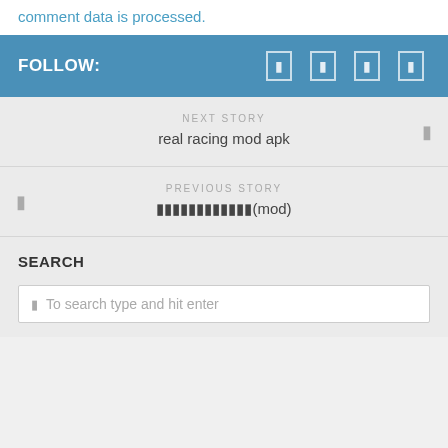comment data is processed.
FOLLOW:
NEXT STORY
real racing mod apk
PREVIOUS STORY
สุดยอดเกมแข่งรถ(mod)
SEARCH
To search type and hit enter